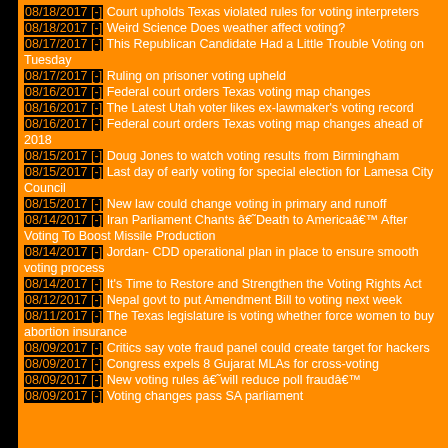08/18/2017 [-] Court upholds Texas violated rules for voting interpreters
08/18/2017 [-] Weird Science Does weather affect voting?
08/17/2017 [-] This Republican Candidate Had a Little Trouble Voting on Tuesday
08/17/2017 [-] Ruling on prisoner voting upheld
08/16/2017 [-] Federal court orders Texas voting map changes
08/16/2017 [-] The Latest Utah voter likes ex-lawmaker's voting record
08/16/2017 [-] Federal court orders Texas voting map changes ahead of 2018
08/15/2017 [-] Doug Jones to watch voting results from Birmingham
08/15/2017 [-] Last day of early voting for special election for Lamesa City Council
08/15/2017 [-] New law could change voting in primary and runoff
08/14/2017 [-] Iran Parliament Chants â€˜Death to Americaâ€™ After Voting To Boost Missile Production
08/14/2017 [-] Jordan- CDD operational plan in place to ensure smooth voting process
08/14/2017 [-] It's Time to Restore and Strengthen the Voting Rights Act
08/12/2017 [-] Nepal govt to put Amendment Bill to voting next week
08/11/2017 [-] The Texas legislature is voting whether force women to buy abortion insurance
08/09/2017 [-] Critics say vote fraud panel could create target for hackers
08/09/2017 [-] Congress expels 8 Gujarat MLAs for cross-voting
08/09/2017 [-] New voting rules â€˜will reduce poll fraudâ€™
08/09/2017 [-] Voting changes pass SA parliament